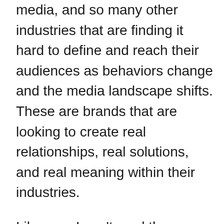media, and so many other industries that are finding it hard to define and reach their audiences as behaviors change and the media landscape shifts. These are brands that are looking to create real relationships, real solutions, and real meaning within their industries.
Like you, I can't read the news anywhere without headlines of hardships, of fear, of concern. The topics take many forms, but the underlying message is the same: people are in trouble, and they need help.
When I read these things in big media — the